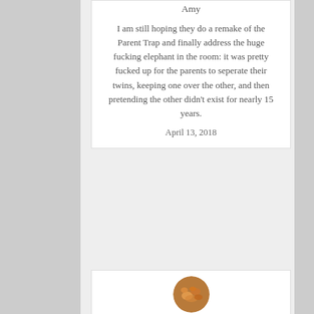Amy
I am still hoping they do a remake of the Parent Trap and finally address the huge fucking elephant in the room: it was pretty fucked up for the parents to seperate their twins, keeping one over the other, and then pretending the other didn't exist for nearly 15 years.
April 13, 2018
[Figure (photo): Circular avatar photo of ViolettaD showing food/snacks with orange/brown tones]
ViolettaD